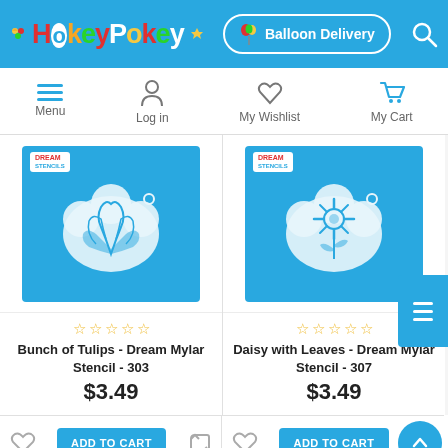[Figure (screenshot): HokeyPokey website header with logo, Balloon Delivery button, and search icon on blue background]
[Figure (screenshot): Navigation bar with Menu (hamburger), Log in (person icon), My Wishlist (heart icon), My Cart (cart icon)]
[Figure (photo): Bunch of Tulips Dream Mylar Stencil product image on teal/blue background]
[Figure (photo): Daisy with Leaves Dream Mylar Stencil product image on teal/blue background]
Bunch of Tulips - Dream Mylar Stencil - 303
$3.49
Daisy with Leaves - Dream Mylar Stencil - 307
$3.49